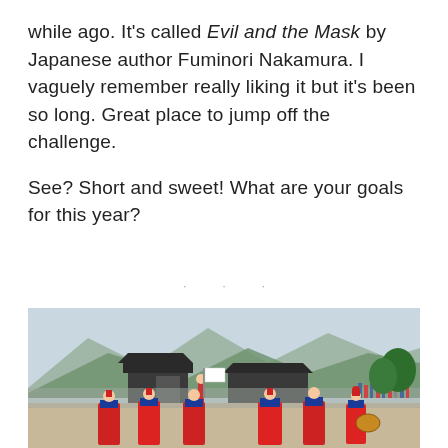while ago. It's called Evil and the Mask by Japanese author Fuminori Nakamura. I vaguely remember really liking it but it's been so long. Great place to jump off the challenge.
See? Short and sweet! What are your goals for this year?
[Figure (photo): Korean palace guards in traditional red and blue uniforms marching in a courtyard, with traditional Korean architecture (dark-roofed gate) and mountains in the background. Crowds of spectators visible.]